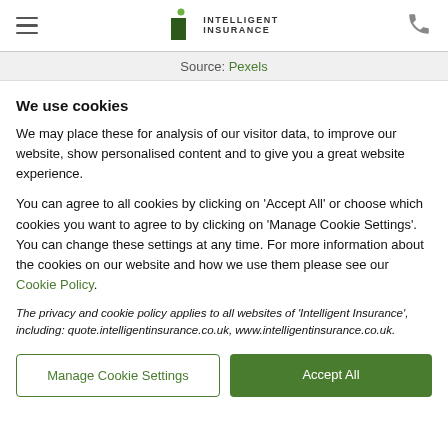Intelligent Insurance — navigation header with logo and phone icon
Source: Pexels
We use cookies
We may place these for analysis of our visitor data, to improve our website, show personalised content and to give you a great website experience.
You can agree to all cookies by clicking on 'Accept All' or choose which cookies you want to agree to by clicking on 'Manage Cookie Settings'. You can change these settings at any time. For more information about the cookies on our website and how we use them please see our Cookie Policy.
The privacy and cookie policy applies to all websites of 'Intelligent Insurance', including: quote.intelligentinsurance.co.uk, www.intelligentinsurance.co.uk.
Manage Cookie Settings
Accept All